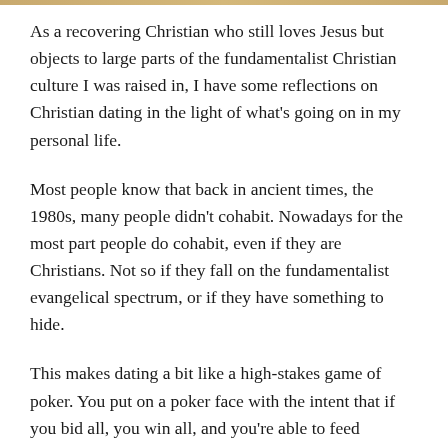As a recovering Christian who still loves Jesus but objects to large parts of the fundamentalist Christian culture I was raised in, I have some reflections on Christian dating in the light of what's going on in my personal life.
Most people know that back in ancient times, the 1980s, many people didn't cohabit. Nowadays for the most part people do cohabit, even if they are Christians. Not so if they fall on the fundamentalist evangelical spectrum, or if they have something to hide.
This makes dating a bit like a high-stakes game of poker. You put on a poker face with the intent that if you bid all, you win all, and you're able to feed yourself at the end of the night.
In this poker round, you are both the player and your bid.